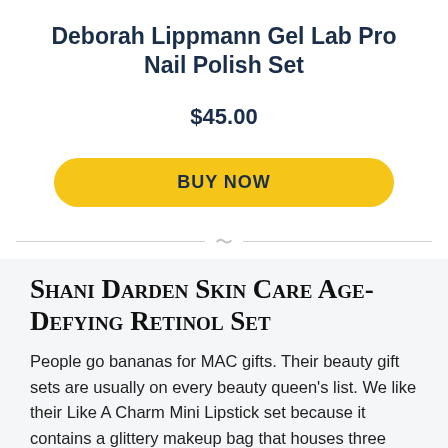Deborah Lippmann Gel Lab Pro Nail Polish Set
$45.00
BUY NOW
Shani Darden Skin Care Age-Defying Retinol Set
People go bananas for MAC gifts. Their beauty gift sets are usually on every beauty queen's list. We like their Like A Charm Mini Lipstick set because it contains a glittery makeup bag that houses three limited edition pink or red shades — those hues work